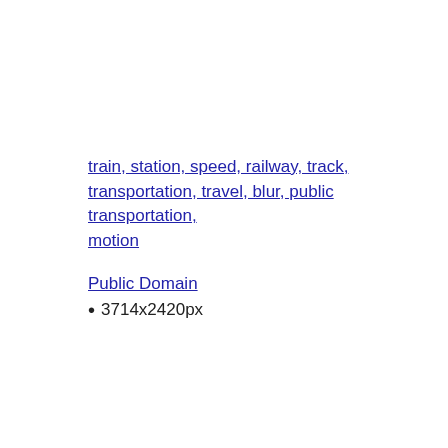train, station, speed, railway, track, transportation, travel, blur, public transportation, motion
Public Domain
3714x2420px